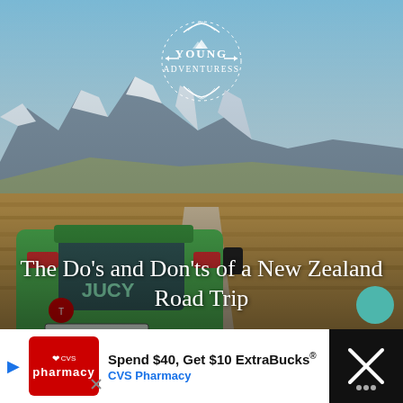[Figure (photo): A green JUCY rental van (license plate HFU741) on a gravel road leading toward snow-capped mountains in New Zealand, with golden tussock plains on either side. A travel blog logo 'Young Adventuress' is overlaid at the top center.]
The Do’s and Don’ts of a New Zealand Road Trip
[Figure (infographic): CVS Pharmacy advertisement banner: 'Spend $40, Get $10 ExtraBucks®' with CVS Pharmacy branding, a directional arrow button, and a close button panel on the right.]